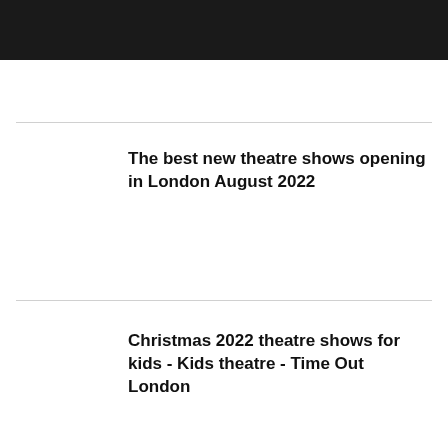[Figure (other): Black navigation/header bar at the top of the page]
The best new theatre shows opening in London August 2022
Christmas 2022 theatre shows for kids - Kids theatre - Time Out London